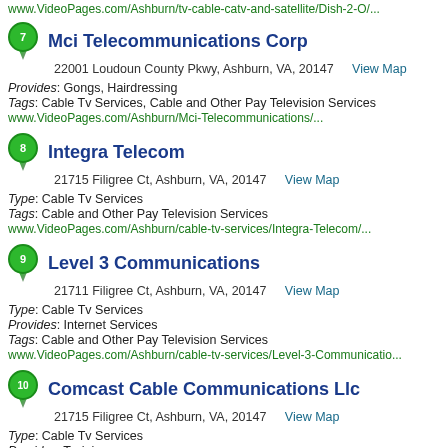www.VideoPages.com/Ashburn/tv-cable-catv-and-satellite/Dish-2-O/...
7  Mci Telecommunications Corp
22001 Loudoun County Pkwy, Ashburn, VA, 20147   View Map
Provides: Gongs, Hairdressing
Tags: Cable Tv Services, Cable and Other Pay Television Services
www.VideoPages.com/Ashburn/Mci-Telecommunications/...
8  Integra Telecom
21715 Filigree Ct, Ashburn, VA, 20147   View Map
Type: Cable Tv Services
Tags: Cable and Other Pay Television Services
www.VideoPages.com/Ashburn/cable-tv-services/Integra-Telecom/...
9  Level 3 Communications
21711 Filigree Ct, Ashburn, VA, 20147   View Map
Type: Cable Tv Services
Provides: Internet Services
Tags: Cable and Other Pay Television Services
www.VideoPages.com/Ashburn/cable-tv-services/Level-3-Communica...
10  Comcast Cable Communications Llc
21715 Filigree Ct, Ashburn, VA, 20147   View Map
Type: Cable Tv Services
Provides: Training